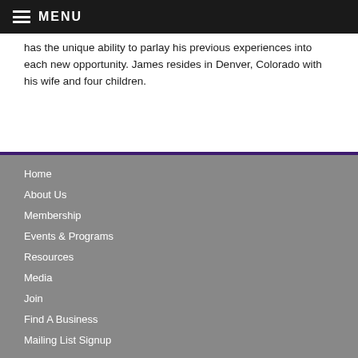MENU
has the unique ability to parlay his previous experiences into each new opportunity.  James resides in Denver, Colorado with his wife and four children.
Home
About Us
Membership
Events & Programs
Resources
Media
Join
Find A Business
Mailing List Signup